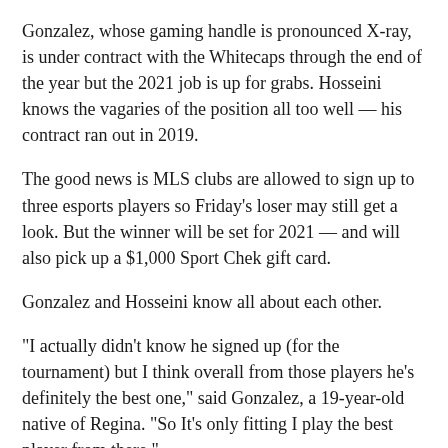Gonzalez, whose gaming handle is pronounced X-ray, is under contract with the Whitecaps through the end of the year but the 2021 job is up for grabs. Hosseini knows the vagaries of the position all too well — his contract ran out in 2019.
The good news is MLS clubs are allowed to sign up to three esports players so Friday's loser may still get a look. But the winner will be set for 2021 — and will also pick up a $1,000 Sport Chek gift card.
Gonzalez and Hosseini know all about each other.
"I actually didn't know he signed up (for the tournament) but I think overall from those players he's definitely the best one," said Gonzalez, a 19-year-old native of Regina. "So It's only fitting I play the best player from there."